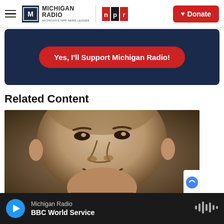Michigan Radio NPR — Donate
[Figure (other): Dark navy blue donation banner with red rounded button reading 'Yes, I'll Support Michigan Radio!']
Related Content
[Figure (photo): Close-up black and white sepia-toned photograph of a smiling man's face]
Michigan Radio — BBC World Service (player bar)